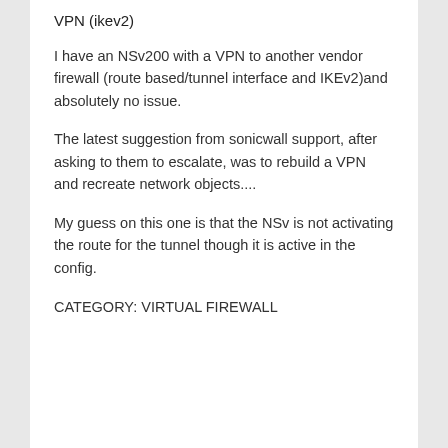VPN (ikev2)
I have an NSv200 with a VPN to another vendor firewall (route based/tunnel interface and IKEv2)and absolutely no issue.
The latest suggestion from sonicwall support, after asking to them to escalate, was to rebuild a VPN and recreate network objects....
My guess on this one is that the NSv is not activating the route for the tunnel though it is active in the config.
CATEGORY: VIRTUAL FIREWALL